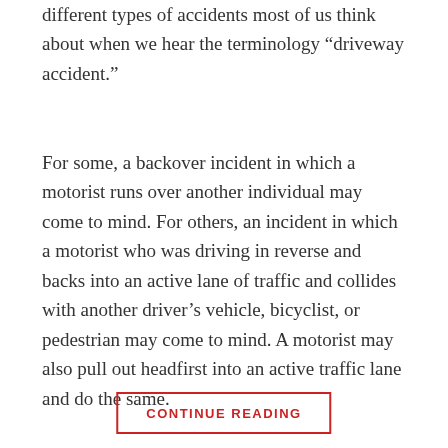different types of accidents most of us think about when we hear the terminology “driveway accident.”
For some, a backover incident in which a motorist runs over another individual may come to mind. For others, an incident in which a motorist who was driving in reverse and backs into an active lane of traffic and collides with another driver’s vehicle, bicyclist, or pedestrian may come to mind. A motorist may also pull out headfirst into an active traffic lane and do the same.
CONTINUE READING